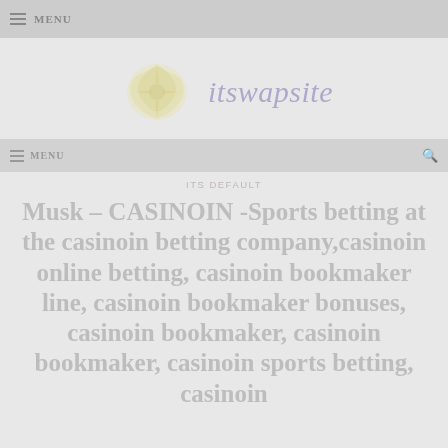MENU
[Figure (logo): itswapsite website logo with decorative floral/star graphic on left and italic purple text 'itswapsite' on right]
MENU
ITS DEFAULT
Musk – CASINOIN -Sports betting at the casinoin betting company,casinoin online betting, casinoin bookmaker line, casinoin bookmaker bonuses, casinoin bookmaker, casinoin bookmaker, casinoin sports betting, casinoin